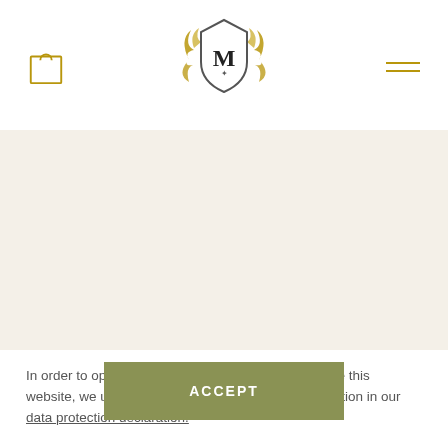[Figure (logo): Shopping bag icon in gold/tan outline on the left of the header]
[Figure (logo): Ornate crest logo with decorative scrollwork and letter M in center shield, gold/dark tones]
[Figure (other): Hamburger menu icon with two horizontal gold lines on the right of the header]
In order to optimally design and continuously improve this website, we use cookies. You will find further information in our data protection declaration.
ACCEPT